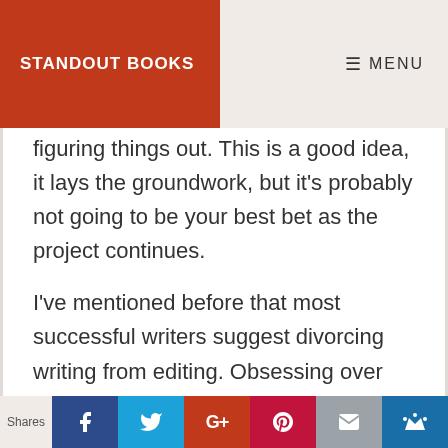STANDOUT BOOKS | MENU
figuring things out. This is a good idea, it lays the groundwork, but it's probably not going to be your best bet as the project continues.
I've mentioned before that most successful writers suggest divorcing writing from editing. Obsessing over your writing as you write it just slows you down,
[Figure (other): Social sharing bar with Facebook, Twitter, Google+, Pinterest, Email, and Crown icons]